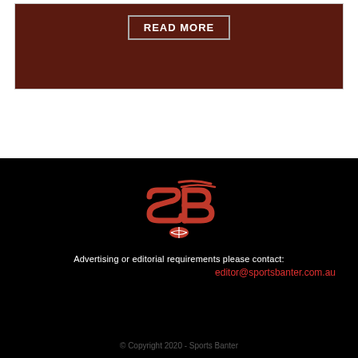[Figure (other): Dark brown textured card with a READ MORE button outlined in grey]
[Figure (logo): Sports Banter logo — red SB letters with football icon and speed lines on black background]
Advertising or editorial requirements please contact:
editor@sportsbanter.com.au
© Copyright 2020 - Sports Banter